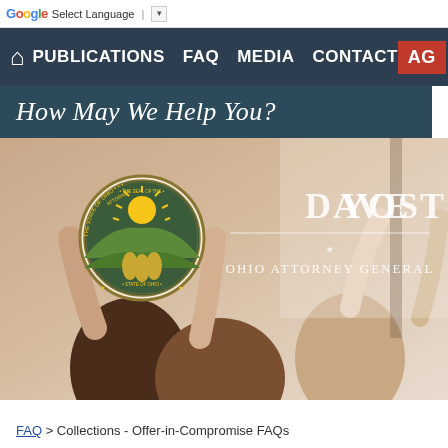Select Language | ▼
PUBLICATIONS  FAQ  MEDIA  CONTACT  AG
How May We Help You?
[Figure (photo): Hero image showing people raising hands in background, overlaid with Ohio Attorney General seal and 'Dave Yost - Ohio Attorney General' logo text in white]
FAQ > Collections - Offer-in-Compromise FAQs